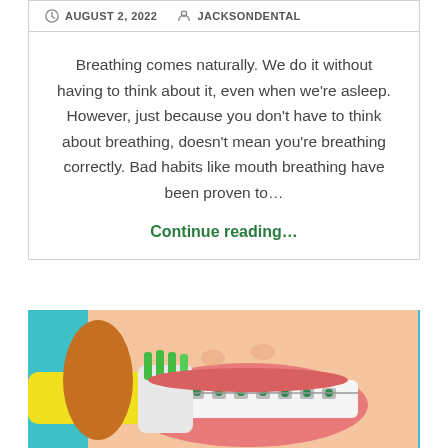AUGUST 2, 2022  JACKSONDENTAL
Breathing comes naturally. We do it without having to think about it, even when we're asleep. However, just because you don't have to think about breathing, doesn't mean you're breathing correctly. Bad habits like mouth breathing have been proven to…
Continue reading…
[Figure (photo): Close-up photo of a smiling person with braces holding a yellow toothbrush with green bristles, against a teal background.]